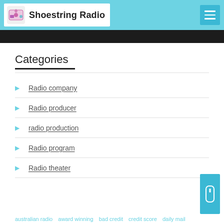Shoestring Radio
[Figure (screenshot): Dark image strip at top of page content]
Categories
Radio company
Radio producer
radio production
Radio program
Radio theater
australian radio  award winning  bad credit  credit score  daily mail